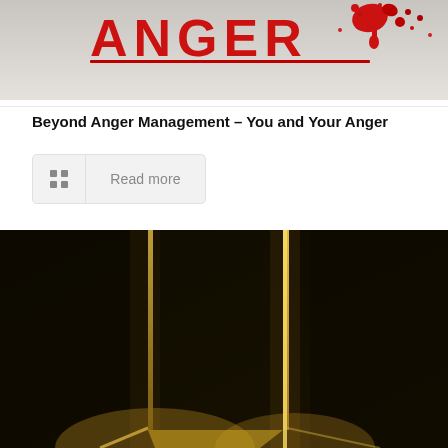[Figure (photo): Top portion of a book or sign with red graffiti-style text reading ANGER with red paint splatter on a white/grey background]
Beyond Anger Management – You and Your Anger
Read more
[Figure (photo): Dark room with a door slightly ajar, warm golden/yellow light streaming through the gap of the door creating bright lines against a very dark background]